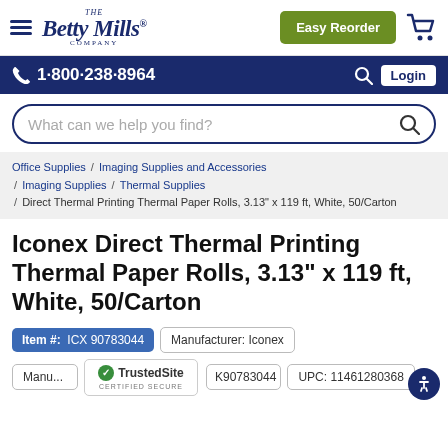Betty Mills Company — Easy Reorder, Cart
1-800-238-8964 | Login
What can we help you find?
Office Supplies / Imaging Supplies and Accessories / Imaging Supplies / Thermal Supplies / Direct Thermal Printing Thermal Paper Rolls, 3.13" x 119 ft, White, 50/Carton
Iconex Direct Thermal Printing Thermal Paper Rolls, 3.13" x 119 ft, White, 50/Carton
Item #: ICX 90783044
Manufacturer: Iconex
Manu... K90783044
TrustedSite CERTIFIED SECURE
UPC: 11461280368